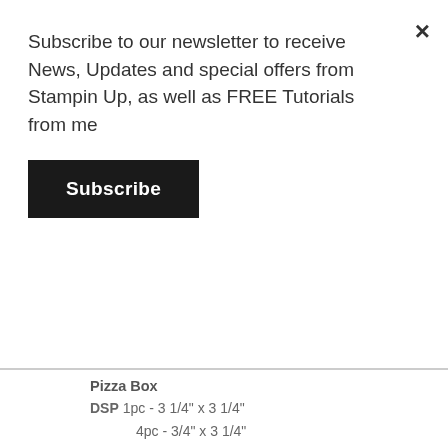Subscribe to our newsletter to receive News, Updates and special offers from Stampin Up, as well as FREE Tutorials from me
Subscribe
Pizza Box
DSP 1pc - 3 1/4" x 3 1/4"
4pc - 3/4" x 3 1/4"
Notecards
Whisper White 4pc - 3" x 6", scored at 3"
DSP 4pc 2 3/4" x 2 3/4"
Plus Scraps of Whisper White & Early Espresso for the s
So, first of all, fold along all the score lines on the pizza b to the top and all four sides. You will see that there's a n